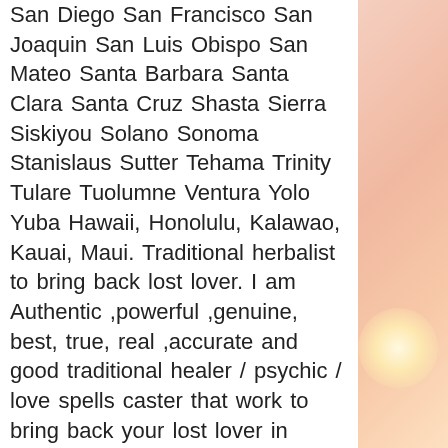San Diego San Francisco San Joaquin San Luis Obispo San Mateo Santa Barbara Santa Clara Santa Cruz Shasta Sierra Siskiyou Solano Sonoma Stanislaus Sutter Tehama Trinity Tulare Tuolumne Ventura Yolo Yuba Hawaii, Honolulu, Kalawao, Kauai, Maui. Traditional herbalist to bring back lost lover. I am Authentic ,powerful ,genuine, best, true, real ,accurate and good traditional healer / psychic / love spells caster that work to bring back your lost lover in Albany Allegany Bronx Broome Cattaraugus Cayuga Chautauqua Chemung Chenango Clinton Columbia Cortland Delaware Dutchess Erie Essex Franklin Fulton Genesee Greene Hamilton Herkimer Jefferson Kings Lewis Livingston Madison Monroe Montgomery Nassau New York Niagara Oneida Onondaga Ontario Orange Orleans Oswego Otsego Putnam Queens Rensselaer Richmond Rockland Saratoga Schenectady Schoharie Schuyler Seneca St. Lawrence Steuben Suffolk